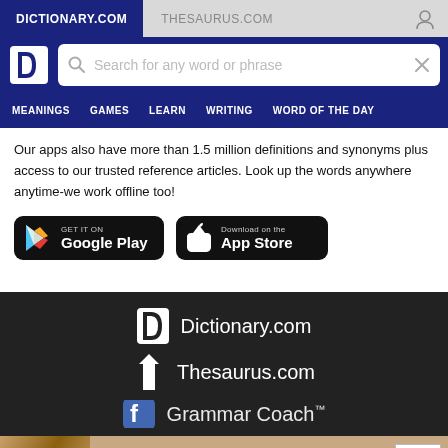DICTIONARY.COM | THESAURUS.COM
[Figure (screenshot): Dictionary.com logo and search bar with navigation menu (MEANINGS, GAMES, LEARN, WRITING, WORD OF THE DAY)]
Our apps also have more than 1.5 million definitions and synonyms plus access to our trusted reference articles. Look up the words anywhere anytime-we work offline too!
[Figure (screenshot): Google Play and App Store download buttons]
[Figure (screenshot): Dark footer with Dictionary.com, Thesaurus.com, and Grammar Coach logos]
[Figure (screenshot): Victoria's Secret advertisement banner: SHOP THE COLLECTION - SHOP NOW]